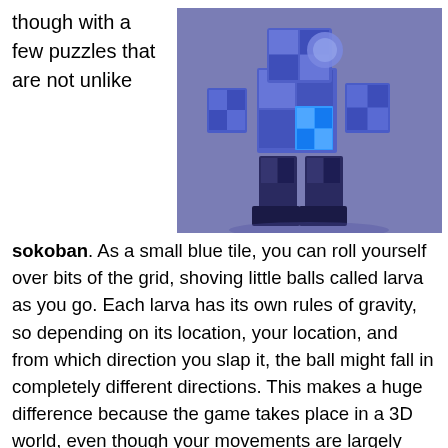though with a few puzzles that are not unlike
[Figure (screenshot): 3D blocky character made of blue and purple checkered tiles, resembling a humanoid figure in a Roblox-style game, set against a purple/blue background.]
sokoban. As a small blue tile, you can roll yourself over bits of the grid, shoving little balls called larva as you go. Each larva has its own rules of gravity, so depending on its location, your location, and from which direction you slap it, the ball might fall in completely different directions. This makes a huge difference because the game takes place in a 3D world, even though your movements are largely confined to flat planes. Move the larva into their targets and, if it's there, get yourself to the goal to complete the level.
After the larva world is complete, you get to head off to a new kind of puzzle setting "wholes" free! Each